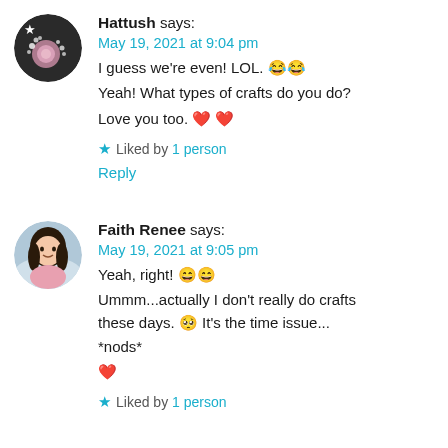Hattush says: May 19, 2021 at 9:04 pm — I guess we're even! LOL. 😂😂 Yeah! What types of crafts do you do? Love you too. ❤️❤️
⭐ Liked by 1 person
Reply
Faith Renee says: May 19, 2021 at 9:05 pm — Yeah, right! 😄😄 Ummm...actually I don't really do crafts these days. 😢 It's the time issue... *nods* ❤️
⭐ Liked by 1 person